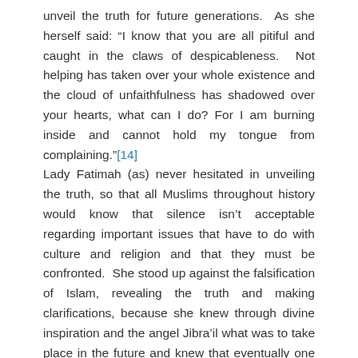unveil the truth for future generations.  As she herself said: “I know that you are all pitiful and caught in the claws of despicableness.  Not helping has taken over your whole existence and the cloud of unfaithfulness has shadowed over your hearts, what can I do? For I am burning inside and cannot hold my tongue from complaining.”[14]
Lady Fatimah (as) never hesitated in unveiling the truth, so that all Muslims throughout history would know that silence isn’t acceptable regarding important issues that have to do with culture and religion and that they must be confronted.  She stood up against the falsification of Islam, revealing the truth and making clarifications, because she knew through divine inspiration and the angel Jibra’il what was to take place in the future and knew that eventually one day, some deserving hearts would embrace this truth and